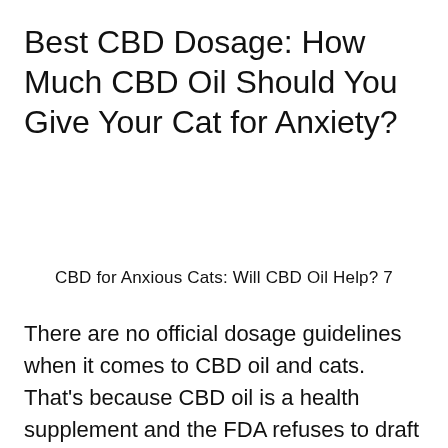Best CBD Dosage: How Much CBD Oil Should You Give Your Cat for Anxiety?
CBD for Anxious Cats: Will CBD Oil Help? 7
There are no official dosage guidelines when it comes to CBD oil and cats. That’s because CBD oil is a health supplement and the FDA refuses to draft out their dosage recommendations for